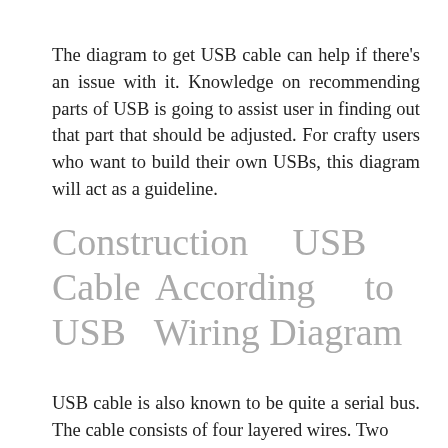The diagram to get USB cable can help if there's an issue with it. Knowledge on recommending parts of USB is going to assist user in finding out that part that should be adjusted. For crafty users who want to build their own USBs, this diagram will act as a guideline.
Construction USB Cable According to USB Wiring Diagram
USB cable is also known to be quite a serial bus. The cable consists of four layered wires. Two